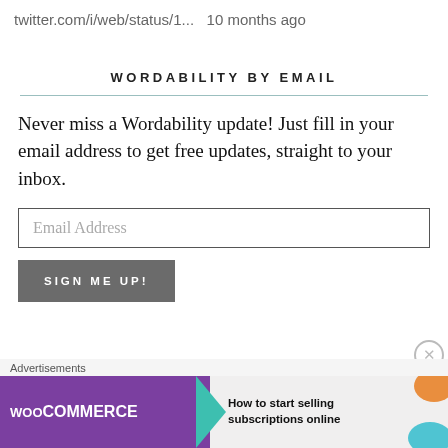twitter.com/i/web/status/1...  10 months ago
WORDABILITY BY EMAIL
Never miss a Wordability update! Just fill in your email address to get free updates, straight to your inbox.
Email Address
SIGN ME UP!
Advertisements
[Figure (screenshot): WooCommerce advertisement banner: purple left section with WooCommerce logo and teal arrow, right section with orange and teal decorative shapes and text 'How to start selling subscriptions online']